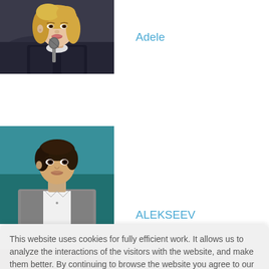[Figure (photo): Photo of Adele singing into a microphone with blonde hair]
Adele
[Figure (photo): Photo of Alekseev, a young man in a grey blazer against a teal background]
ALEKSEEV
[Figure (photo): Partial photo of another artist at bottom of page]
This website uses cookies for fully efficient work. It allows us to analyze the interactions of the visitors with the website, and make them better. By continuing to browse the website you agree to our use of cookies.